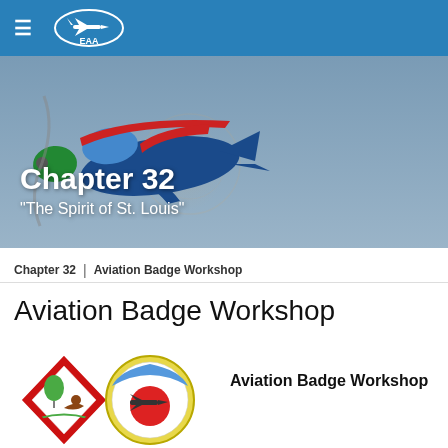[Figure (screenshot): EAA website navigation bar with hamburger menu icon and EAA logo on blue background]
[Figure (photo): Red and blue small airplane flying in gray sky with large propeller visible, overlaid with Chapter 32 title text]
Chapter 32
"The Spirit of St. Louis"
Chapter 32 | Aviation Badge Workshop
Aviation Badge Workshop
[Figure (illustration): Two Scout merit badge patches: a diamond-shaped red patch with balloon and eagle, and a circular patch with airplane over red sun]
Aviation Badge Workshop